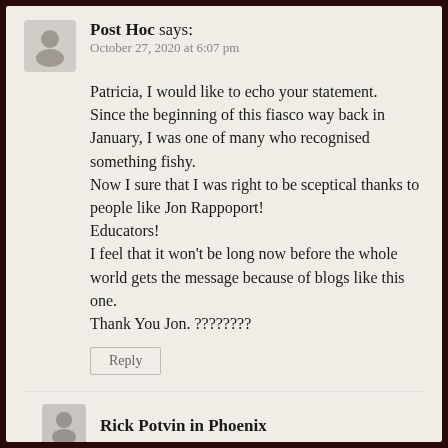Post Hoc says: October 27, 2020 at 6:07 pm
Patricia, I would like to echo your statement.
Since the beginning of this fiasco way back in January, I was one of many who recognised something fishy.
Now I sure that I was right to be sceptical thanks to people like Jon Rappoport!
Educators!
I feel that it won't be long now before the whole world gets the message because of blogs like this one.
Thank You Jon. ????????
Reply
Rick Potvin in Phoenix